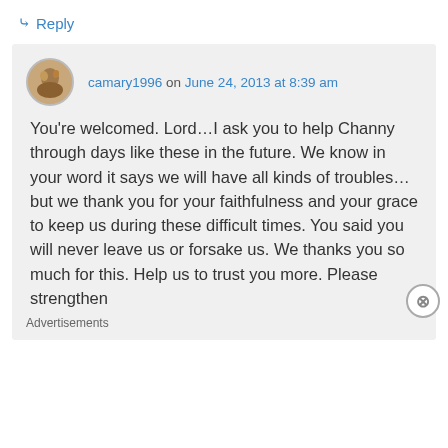↳ Reply
camary1996 on June 24, 2013 at 8:39 am
You're welcomed. Lord…I ask you to help Channy through days like these in the future. We know in your word it says we will have all kinds of troubles…but we thank you for your faithfulness and your grace to keep us during these difficult times. You said you will never leave us or forsake us. We thanks you so much for this. Help us to trust you more. Please strengthen
Advertisements